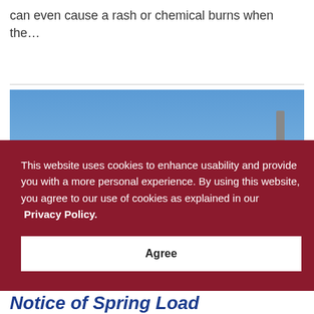can even cause a rash or chemical burns when the…
[Figure (photo): Outdoor photo showing blue sky and agricultural/industrial equipment in a snowy field, partially visible behind a cookie consent overlay]
This website uses cookies to enhance usability and provide you with a more personal experience. By using this website, you agree to our use of cookies as explained in our Privacy Policy.
Agree
Notice of Spring Load